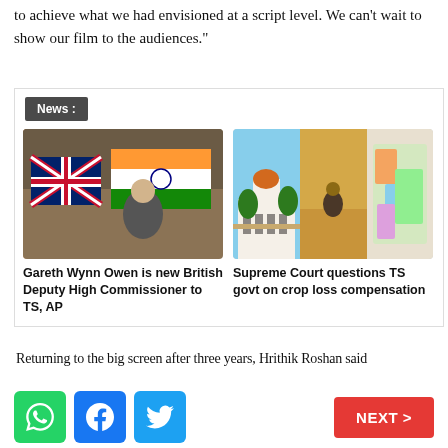to achieve what we had envisioned at a script level. We can't wait to show our film to the audiences."
[Figure (screenshot): News widget box showing 'News:' label and three news card thumbnails with headlines: 'Gareth Wynn Owen is new British Deputy High Commissioner to TS, AP', 'Supreme Court questions TS govt on crop loss compensation', and a partial third card 'YSRC...']
Returning to the big screen after three years, Hrithik Roshan said
[Figure (infographic): Social share buttons (WhatsApp, Facebook, Twitter) and a red NEXT > navigation button]